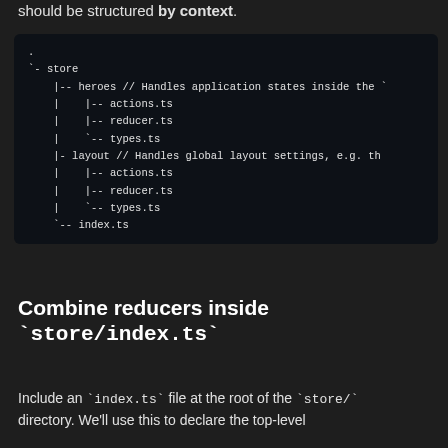should be structured by context.
[Figure (screenshot): Dark-themed code block showing a directory tree for a Redux store folder structure with heroes and layout subdirectories, each containing actions.ts, reducer.ts, types.ts files, and an index.ts at the root.]
Combine reducers inside `store/index.ts`
Include an `index.ts` file at the root of the `store/` directory. We'll use this to declare the top-level